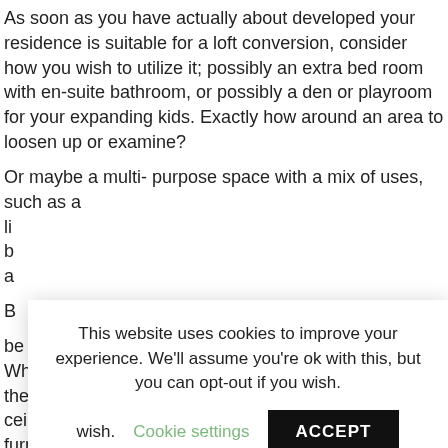As soon as you have actually about developed your residence is suitable for a loft conversion, consider how you wish to utilize it; possibly an extra bed room with en-suite bathroom, or possibly a den or playroom for your expanding kids. Exactly how around an area to loosen up or examine?
Or maybe a multi- purpose space with a mix of uses, such as a... [partially obscured by cookie banner]
[Figure (screenshot): Cookie consent banner overlay: 'This website uses cookies to improve your experience. We'll assume you're ok with this, but you can opt-out if you wish.' with 'Cookie settings' link in green and 'ACCEPT' button in black.]
be included, especially in the eaves.
When taking a look at the layout do not overestimate the room you will certainly get. You may have tilted ceilings which limit movement and also the kind of furnishings you can have. By requirement most residential loft conversions use able to be used space of cosy dimensions, finest fit to resting, play or office space.